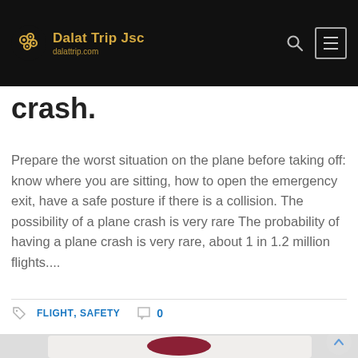Dalat Trip Jsc — dalattrip.com
crash.
Prepare the worst situation on the plane before taking off: know where you are sitting, how to open the emergency exit, have a safe posture if there is a collision. The possibility of a plane crash is very rare The probability of having a plane crash is very rare, about 1 in 1.2 million flights....
FLIGHT, SAFETY   0
[Figure (photo): A flight attendant in dark red uniform and hat standing in airplane aisle]